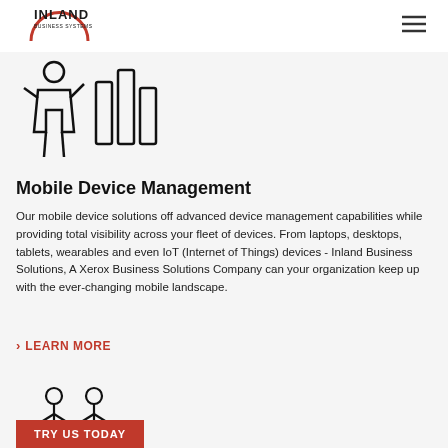[Figure (logo): Inland Business Systems logo with red circle arc and text]
[Figure (illustration): Line art icon showing a person in front of devices/screens (mobile device management illustration)]
Mobile Device Management
Our mobile device solutions off advanced device management capabilities while providing total visibility across your fleet of devices. From laptops, desktops, tablets, wearables and even IoT (Internet of Things) devices - Inland Business Solutions, A Xerox Business Solutions Company can your organization keep up with the ever-changing mobile landscape.
› LEARN MORE
[Figure (illustration): Line art icon showing two people figures (collaboration/meeting illustration)]
TRY US TODAY